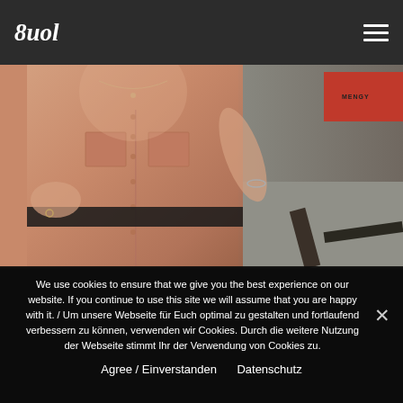Suol
[Figure (photo): Close-up photo of a person wearing an orange/salmon linen shirt, with jewelry visible, standing in an outdoor industrial setting with a red sign visible in the background right]
We use cookies to ensure that we give you the best experience on our website. If you continue to use this site we will assume that you are happy with it. / Um unsere Webseite für Euch optimal zu gestalten und fortlaufend verbessern zu können, verwenden wir Cookies. Durch die weitere Nutzung der Webseite stimmt Ihr der Verwendung von Cookies zu.
Agree / Einverstanden   Datenschutz